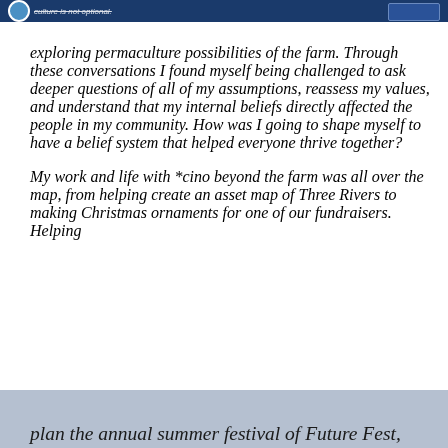culture is not optional.
exploring permaculture possibilities of the farm. Through these conversations I found myself being challenged to ask deeper questions of all of my assumptions, reassess my values, and understand that my internal beliefs directly affected the people in my community. How was I going to shape myself to have a belief system that helped everyone thrive together?
My work and life with *cino beyond the farm was all over the map, from helping create an asset map of Three Rivers to making Christmas ornaments for one of our fundraisers. Helping plan the annual summer festival of Future Fest,